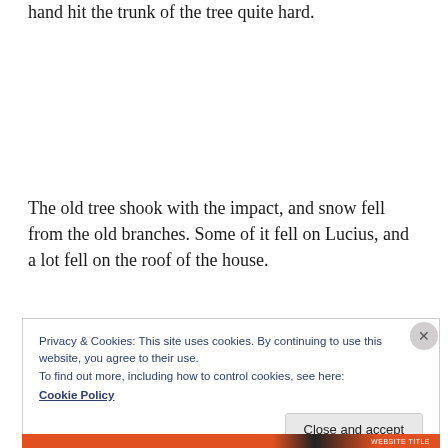hand hit the trunk of the tree quite hard.
The old tree shook with the impact, and snow fell from the old branches. Some of it fell on Lucius, and a lot fell on the roof of the house.
Privacy & Cookies: This site uses cookies. By continuing to use this website, you agree to their use.
To find out more, including how to control cookies, see here:
Cookie Policy
Close and accept